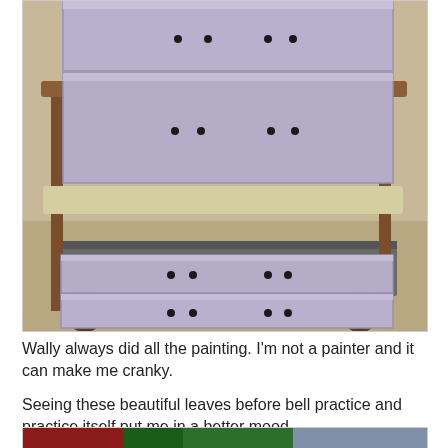[Figure (photo): Photo of a dresser with drawers painted in lavender/light purple color, sitting on a tan/beige carpet. The drawers are pulled out slightly and have small dark hardware dots. A wooden chair with upholstered seat is visible behind the dresser.]
Wally always did all the painting. I'm not a painter and it can make me cranky.
Seeing these beautiful leaves before bell practice and practice itself put me in a better mood.
[Figure (photo): Partial photo showing colorful autumn leaves and outdoor scenery, partially visible at bottom of page.]